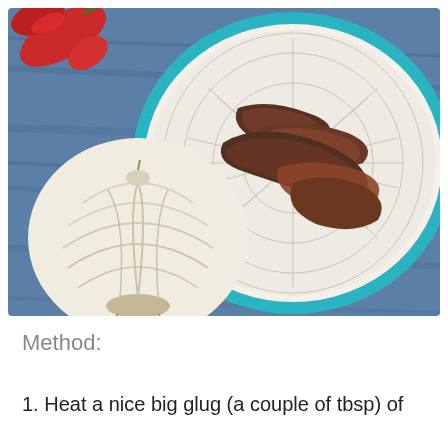[Figure (photo): Overhead photo showing a white and blue patterned bowl filled with anchovies/dark fish fillets, a whole garlic bulb on the left, and a red chili pepper in the top-left corner, all resting on a blue wooden surface.]
Method:
1. Heat a nice big glug (a couple of tbsp) of